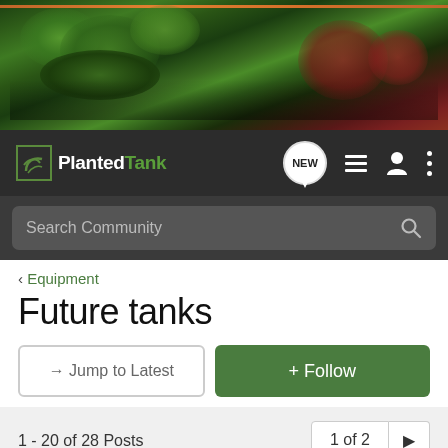[Figure (photo): Planted aquarium banner image showing lush green aquatic plants, driftwood, and red plants against a dark background. Orange bar at top.]
Planted Tank — navigation bar with NEW chat icon, list icon, user icon, and menu icon. Search Community search bar.
< Equipment
Future tanks
→ Jump to Latest
+ Follow
1 - 20 of 28 Posts
1 of 2 ▶
Blackheart · Registered 🇺🇸